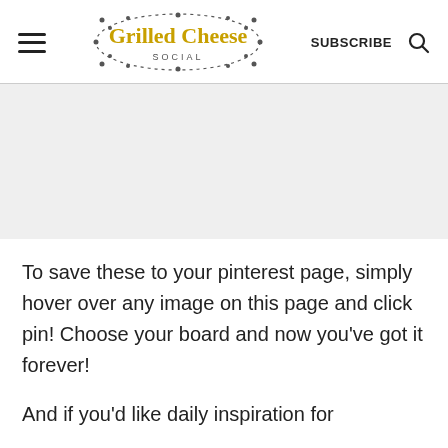Grilled Cheese Social — SUBSCRIBE
[Figure (other): Advertisement placeholder area (light gray background)]
To save these to your pinterest page, simply hover over any image on this page and click pin! Choose your board and now you've got it forever!
And if you'd like daily inspiration for